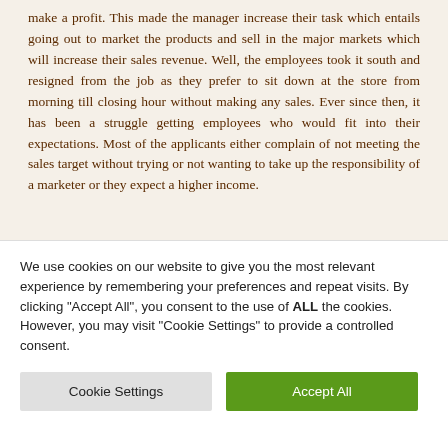make a profit. This made the manager increase their task which entails going out to market the products and sell in the major markets which will increase their sales revenue. Well, the employees took it south and resigned from the job as they prefer to sit down at the store from morning till closing hour without making any sales. Ever since then, it has been a struggle getting employees who would fit into their expectations. Most of the applicants either complain of not meeting the sales target without trying or not wanting to take up the responsibility of a marketer or they expect a higher income.
Oluwakemi Adepetu
Code: NG718
We use cookies on our website to give you the most relevant experience by remembering your preferences and repeat visits. By clicking "Accept All", you consent to the use of ALL the cookies. However, you may visit "Cookie Settings" to provide a controlled consent.